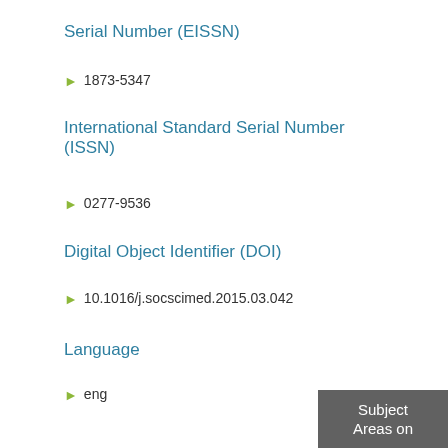Serial Number (EISSN)
1873-5347
International Standard Serial Number (ISSN)
0277-9536
Digital Object Identifier (DOI)
10.1016/j.socscimed.2015.03.042
Language
eng
Subject Areas on